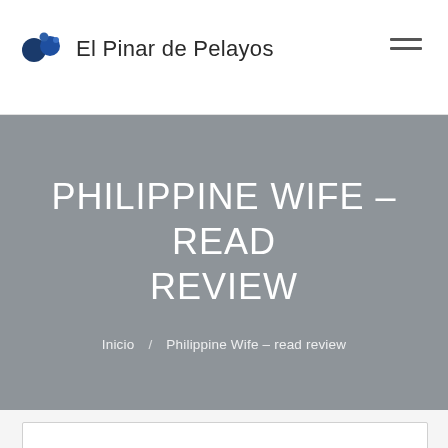El Pinar de Pelayos
PHILIPPINE WIFE – READ REVIEW
Inicio / Philippine Wife – read review